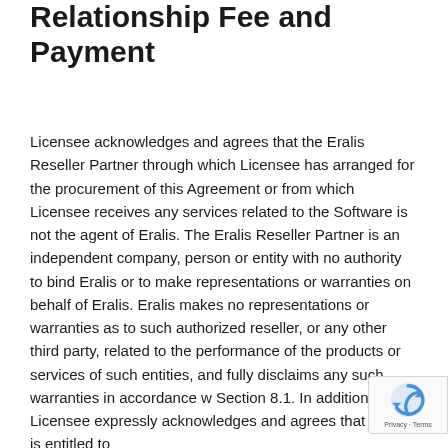Relationship Fee and Payment
Licensee acknowledges and agrees that the Eralis Reseller Partner through which Licensee has arranged for the procurement of this Agreement or from which Licensee receives any services related to the Software is not the agent of Eralis. The Eralis Reseller Partner is an independent company, person or entity with no authority to bind Eralis or to make representations or warranties on behalf of Eralis. Eralis makes no representations or warranties as to such authorized reseller, or any other third party, related to the performance of the products or services of such entities, and fully disclaims any such warranties in accordance with Section 8.1. In addition, Licensee expressly acknowledges and agrees that Eralis is entitled to